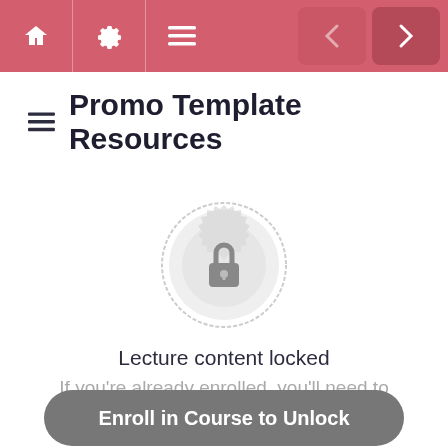Promo Template Resources - navigation bar with home, settings, menu icons and prev/next buttons
Promo Template Resources
[Figure (illustration): Locked content icon: a decorative circular badge in light grey with a padlock in the center]
Lecture content locked
If you're already enrolled, you'll need to login.
Enroll in Course to Unlock